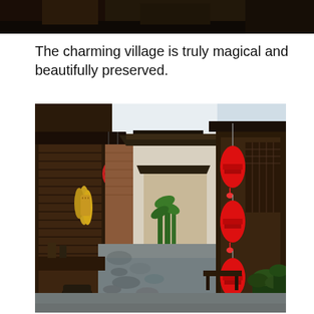[Figure (photo): Top portion of a photo showing a dark interior/exterior scene, cropped at top of page]
The charming village is truly magical and beautifully preserved.
[Figure (photo): A traditional Chinese village alleyway with wooden buildings on both sides, red lanterns hanging on the right side, stone-paved walkway, green plants, and whitewashed building in the middle background. Corn hanging on the left building, dark wood architectural details.]